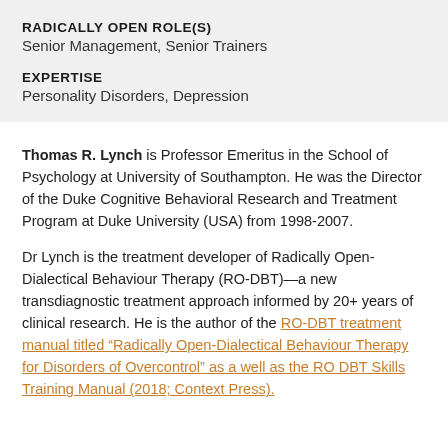RADICALLY OPEN ROLE(S)
Senior Management, Senior Trainers
EXPERTISE
Personality Disorders, Depression
Thomas R. Lynch is Professor Emeritus in the School of Psychology at University of Southampton. He was the Director of the Duke Cognitive Behavioral Research and Treatment Program at Duke University (USA) from 1998-2007.
Dr Lynch is the treatment developer of Radically Open-Dialectical Behaviour Therapy (RO-DBT)—a new transdiagnostic treatment approach informed by 20+ years of clinical research. He is the author of the RO-DBT treatment manual titled “Radically Open-Dialectical Behaviour Therapy for Disorders of Overcontrol” as a well as the RO DBT Skills Training Manual (2018; Context Press).